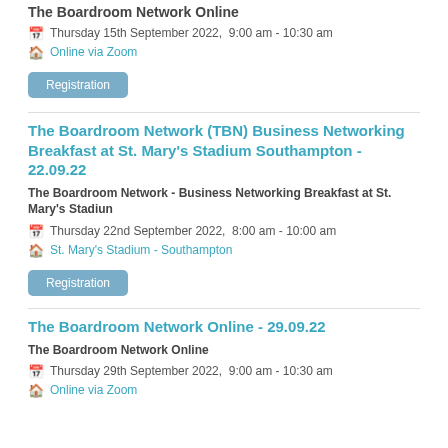The Boardroom Network Online
Thursday 15th September 2022,  9:00 am - 10:30 am
Online via Zoom
Registration
The Boardroom Network (TBN) Business Networking Breakfast at St. Mary's Stadium Southampton - 22.09.22
The Boardroom Network - Business Networking Breakfast at St. Mary's Stadiun
Thursday 22nd September 2022,  8:00 am - 10:00 am
St. Mary's Stadium - Southampton
Registration
The Boardroom Network Online - 29.09.22
The Boardroom Network Online
Thursday 29th September 2022,  9:00 am - 10:30 am
Online via Zoom